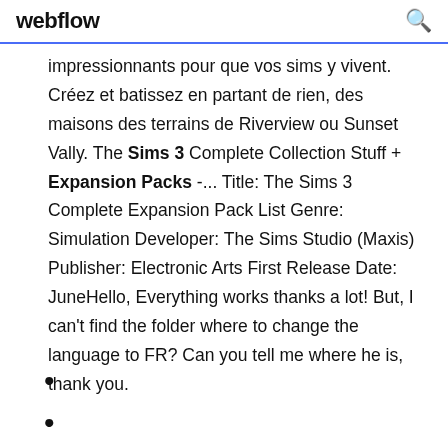webflow
impressionnants pour que vos sims y vivent. Créez et batissez en partant de rien, des maisons des terrains de Riverview ou Sunset Vally. The Sims 3 Complete Collection Stuff + Expansion Packs -... Title: The Sims 3 Complete Expansion Pack List Genre: Simulation Developer: The Sims Studio (Maxis) Publisher: Electronic Arts First Release Date: JuneHello, Everything works thanks a lot! But, I can't find the folder where to change the language to FR? Can you tell me where he is, thank you.